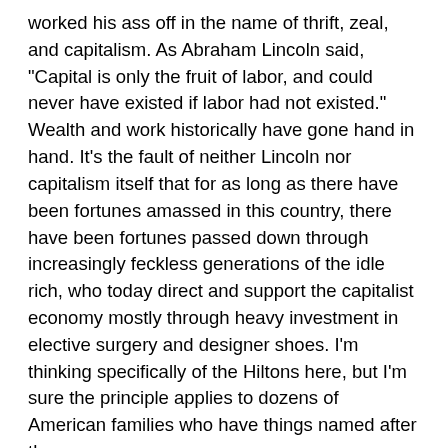worked his ass off in the name of thrift, zeal, and capitalism. As Abraham Lincoln said, "Capital is only the fruit of labor, and could never have existed if labor had not existed." Wealth and work historically have gone hand in hand. It's the fault of neither Lincoln nor capitalism itself that for as long as there have been fortunes amassed in this country, there have been fortunes passed down through increasingly feckless generations of the idle rich, who today direct and support the capitalist economy mostly through heavy investment in elective surgery and designer shoes. I'm thinking specifically of the Hiltons here, but I'm sure the principle applies to dozens of American families who have things named after them.
On the other hand, thank Providence for the wealthy. They hold the most important job there is: being wealthy. If they didn't do it, after all, who would? Not you or me, that's for sure. Wealthy people produce additional wealth, consistently and almost subconsciously, because they don't have anything better to do. They don't have to figure out how to make both the mortgage payment and the car payment, or stretch a limited grocery budget, or juggle the utilities without